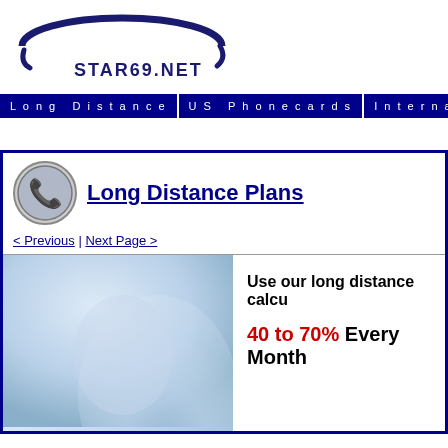[Figure (logo): STAR69.NET logo with dark blue oval swoosh arc and text STAR69.NET below]
Long Distance | US Phonecards | International Phonecards | C…
Long Distance Plans
< Previous | Next Page >
[Figure (photo): Blurred blue-toned close-up photo of a telephone handset]
Use our long distance calcu…
40 to 70% Every Month…